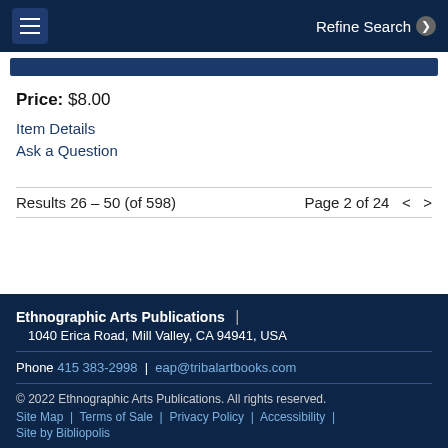Refine Search
Price: $8.00
Item Details
Ask a Question
Results 26 – 50 (of 598)    Page 2 of 24  <  >
Ethnographic Arts Publications | 1040 Erica Road, Mill Valley, CA 94941, USA
Phone 415 383-2998 | eap@tribalartbooks.com
© 2022 Ethnographic Arts Publications. All rights reserved.
Site Map | Terms of Sale | Privacy Policy | Accessibility | Site by Bibliopolis